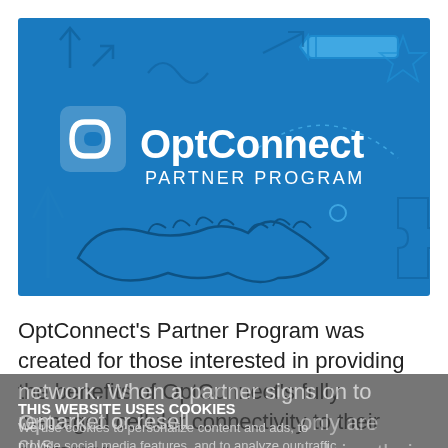[Figure (logo): OptConnect Partner Program banner image with blue background, handshake graphic, decorative icons (arrows, star, puzzle piece, pen, etc.), white OptConnect logo icon and text 'OptConnect PARTNER PROGRAM']
OptConnect's Partner Program was created for those interested in providing the benefits of OptConnect's fully managed cellular connectivity to their customer network. When a partner signs on to remarket or resell Opt[Connect's solutions], only are helping their cus[tomers]... con[nect]...
THIS WEBSITE USES COOKIES
We use cookies to personalize content and ads, to provide social media features, and to analyze our traffic.